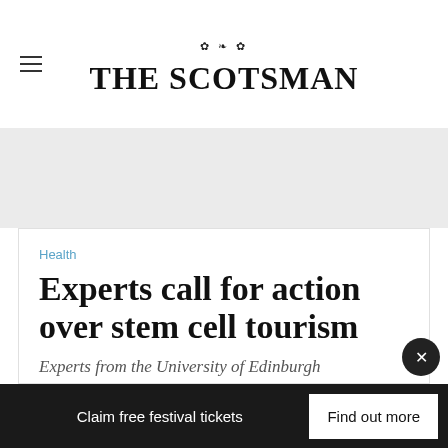THE SCOTSMAN
[Figure (other): Gray advertisement banner area]
Health
Experts call for action over stem cell tourism
Experts from the University of Edinburgh
Claim free festival tickets   Find out more